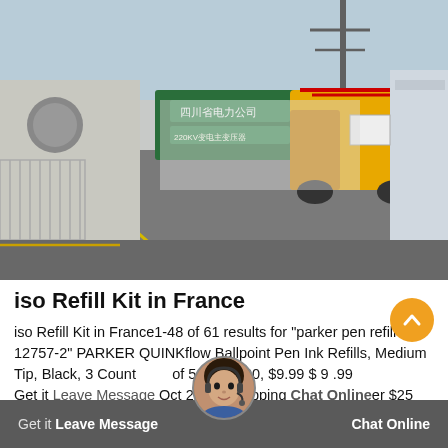[Figure (photo): Photo of an industrial gate/checkpoint area with a yellow truck entering, Chinese signage on a green board to the left, metal fencing, warehouses, and a hazy sky.]
iso Refill Kit in France
iso Refill Kit in France1-48 of 61 results for "parker pen refill iso 12757-2" PARKER QUINKflow Ballpoint Pen Ink Refills, Medium Tip, Black, 3 Count of 5 stars 420, $9.99 $ 9 .99 Get it Leave Message Oct 28. Shipping Chat Online er $25
Leave Message    Chat Online